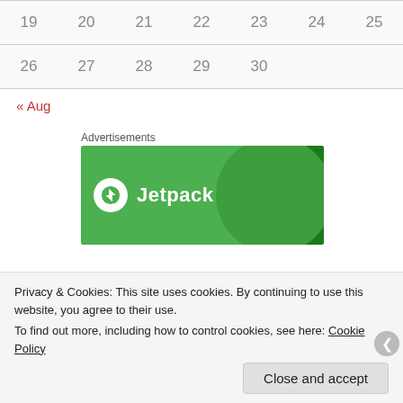| 19 | 20 | 21 | 22 | 23 | 24 | 25 |
| 26 | 27 | 28 | 29 | 30 |  |  |
« Aug
Advertisements
[Figure (logo): Jetpack advertisement banner with green background, Jetpack logo and wordmark in white]
Privacy & Cookies: This site uses cookies. By continuing to use this website, you agree to their use. To find out more, including how to control cookies, see here: Cookie Policy
Close and accept